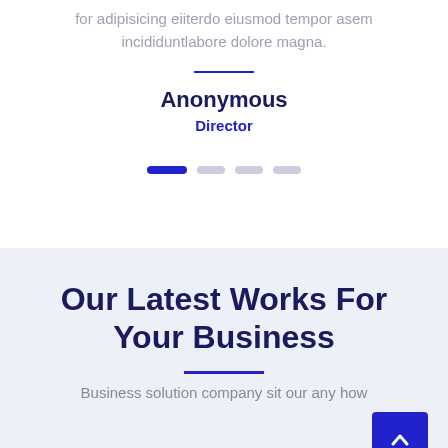for adipisicing eiiterdo eiusmod tempor asem incididuntlabore dolore magna.
Anonymous
Director
[Figure (other): Carousel navigation dots: one active (dark blue, wide) and three inactive (light grey)]
Our Latest Works For Your Business
Business solution company sit our any how